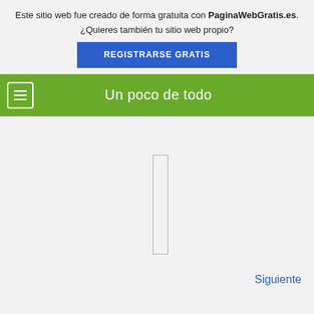Este sitio web fue creado de forma gratuita con PaginaWebGratis.es. ¿Quieres también tu sitio web propio?
REGISTRARSE GRATIS
Un poco de todo
[Figure (other): Thin vertical rectangle outline (placeholder/loading image)]
Siguiente